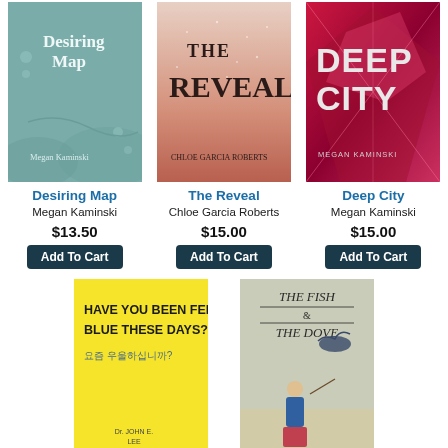[Figure (illustration): Book cover: Desiring Map by Megan Kaminski, sage green/teal background with abstract landscape]
[Figure (illustration): Book cover: The Reveal by Chloe Garcia Roberts, rose gold/pink gradient with glittery texture]
[Figure (illustration): Book cover: Deep City by Megan Kaminski, red/magenta abstract geometric design]
Desiring Map
Megan Kaminski
$13.50
Add To Cart
The Reveal
Chloe Garcia Roberts
$15.00
Add To Cart
Deep City
Megan Kaminski
$15.00
Add To Cart
[Figure (illustration): Book cover: Have You Been Feeling Blue These Days? yellow background with bold text in English and Korean]
[Figure (illustration): Book cover: The Fish & The Dove, illustrated cover with woman and birds]
Have You
The Fish &